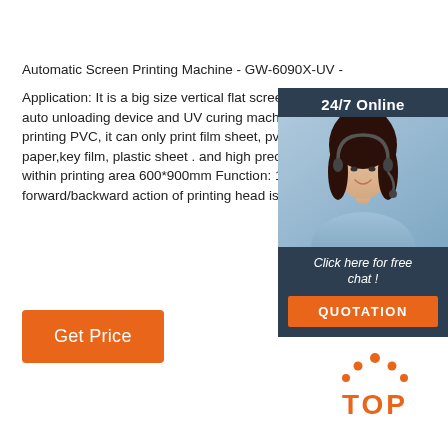Automatic Screen Printing Machine - GW-6090X-UV -
Application: It is a big size vertical flat screen printing auto unloading device and UV curing machine, It is printing PVC, it can only print film sheet, pvc sheet, paper,key film, plastic sheet . and high precision scr within printing area 600*900mm Function: 1.Tilted-a forward/backward action of printing head is drived b
[Figure (photo): Customer service representative woman with headset, with '24/7 Online' header, 'Click here for free chat!' text and orange QUOTATION button, dark navy background chat widget]
Get Price
[Figure (logo): TOP logo with orange dots arranged in triangle above the word TOP in orange letters]